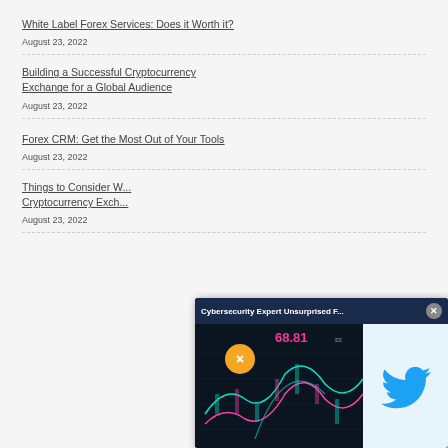White Label Forex Services: Does it Worth it?
August 23, 2022
Building a Successful Cryptocurrency Exchange for a Global Audience
August 23, 2022
Forex CRM: Get the Most Out of Your Tools
August 23, 2022
Things to Consider W... Cryptocurrency Exch...
August 23, 2022
[Figure (screenshot): Popup overlay showing 'Cybersecurity Expert Unsurprised F...' with a financial chart displaying 68.81 price, a mute button, and a Twitter bird logo panel on the right.]